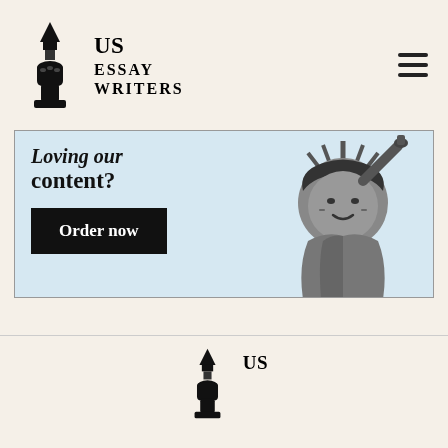[Figure (logo): US Essay Writers logo with pen nib and hand illustration, header version]
US ESSAY WRITERS
[Figure (illustration): Promotional banner with light blue background showing Loving our content? text, Order now button, and cartoon Statue of Liberty illustration]
Loving our content?
Order now
[Figure (logo): US Essay Writers logo with pen nib, footer version]